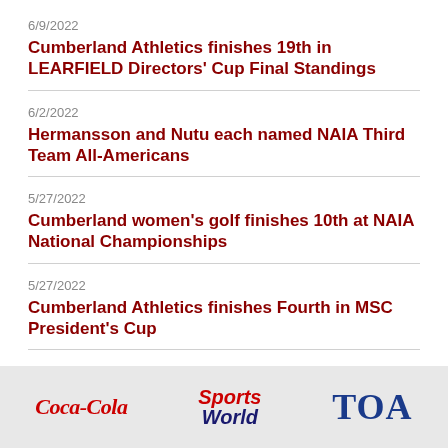6/9/2022
Cumberland Athletics finishes 19th in LEARFIELD Directors' Cup Final Standings
6/2/2022
Hermansson and Nutu each named NAIA Third Team All-Americans
5/27/2022
Cumberland women's golf finishes 10th at NAIA National Championships
5/27/2022
Cumberland Athletics finishes Fourth in MSC President's Cup
5/26/2022
Cumberland women's golf makes the cut after second round
[Figure (logo): Footer bar with sponsor logos: Coca-Cola, Sports World, TOA]